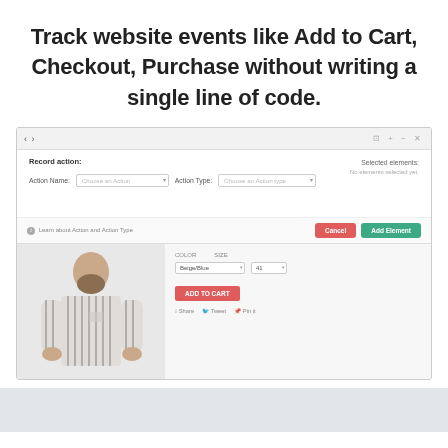Track website events like Add to Cart, Checkout, Purchase without writing a single line of code.
[Figure (screenshot): A UI screenshot showing a record action panel with Action Name and Action Type dropdowns, Selected elements panel on the right showing 'No elements selected yet', a bottom bar with Cancel and Add Element buttons, and below a product page showing a bearded man in a striped shirt with Add to Cart button and color/size selectors.]